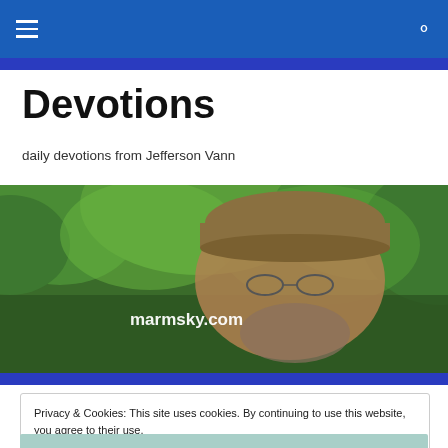Navigation bar with hamburger menu and search icon
Devotions
daily devotions from Jefferson Vann
[Figure (photo): A man with glasses and a cap standing outdoors among trees, with text overlay 'marmsky.com']
Privacy & Cookies: This site uses cookies. By continuing to use this website, you agree to their use.
To find out more, including how to control cookies, see here: Cookie Policy

Close and accept